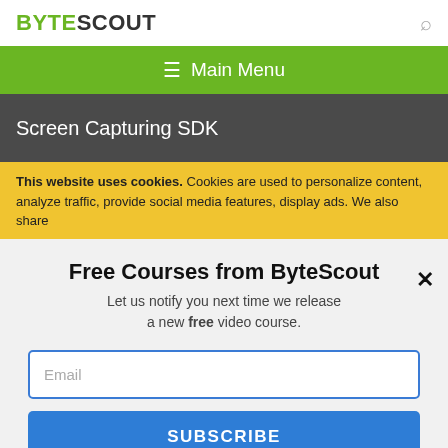BYTESCOUT
Main Menu
Screen Capturing SDK
This website uses cookies. Cookies are used to personalize content, analyze traffic, provide social media features, display ads. We also share
Free Courses from ByteScout
Let us notify you next time we release a new free video course.
Email
SUBSCRIBE